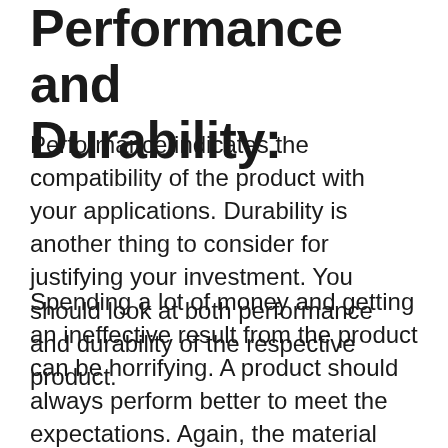Performance and Durability:
Performance indicates the compatibility of the product with your applications. Durability is another thing to consider for justifying your investment. You should look at both performance and durability of the respective product.
Spending a lot of money and getting an ineffective result from the product can be horrifying. A product should always perform better to meet the expectations. Again, the material quality and types may also differentiate the product prices. Sometimes the product may meet or exceed traditional product standards for best return or benefit